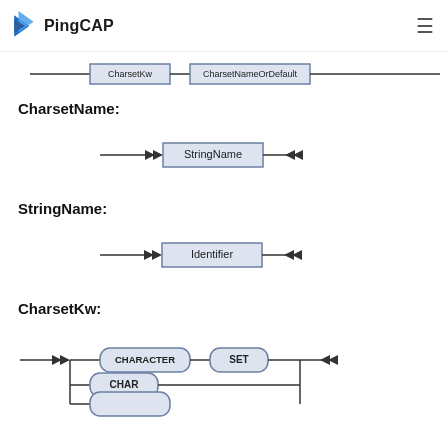PingCAP
[Figure (schematic): Partial railroad diagram showing CharsetKw and CharsetNameOrDefault boxes connected by lines at the top of the page (cropped)]
CharsetName:
[Figure (flowchart): Railroad diagram for CharsetName: arrow pointing right into a box labeled StringName, then arrow pointing left (end marker)]
StringName:
[Figure (flowchart): Railroad diagram for StringName: arrow pointing right into a box labeled Identifier, then arrow pointing left (end marker)]
CharsetKw:
[Figure (flowchart): Railroad diagram for CharsetKw: arrow right, then two stacked paths — top path with rounded box CHARACTER then rounded box SET, bottom paths with rounded box CHAR and another (cropped) — then arrow end]